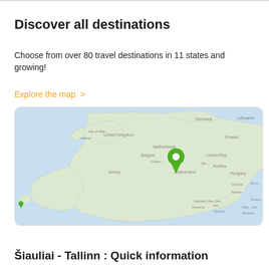Discover all destinations
Choose from over 80 travel destinations in 11 states and growing!
Explore the map >
[Figure (map): Interactive map of Europe showing green location pin markers over various countries including UK, Netherlands, Belgium, Germany, France, Switzerland, Italy, Denmark, Poland, Czech Republic, Hungary, Serbia, Bulgaria, and others. The map has a light blue water background and light land areas.]
Šiauliai - Tallinn : Quick information